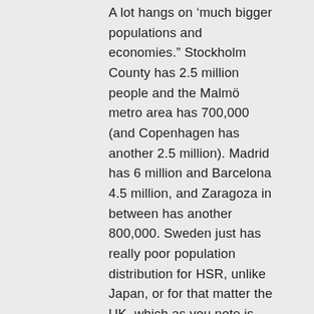A lot hangs on ‘much bigger populations and economies.” Stockholm County has 2.5 million people and the Malmö metro area has 700,000 (and Copenhagen has another 2.5 million). Madrid has 6 million and Barcelona 4.5 million, and Zaragoza in between has another 800,000. Sweden just has really poor population distribution for HSR, unlike Japan, or for that matter the UK, which as you note is fairly linear.